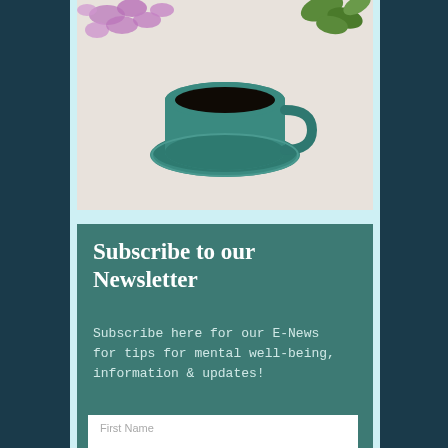[Figure (photo): Top-down photo of a teal coffee cup on a saucer, surrounded by pink/purple flowers on a light gray background]
Subscribe to our Newsletter
Subscribe here for our E-News for tips for mental well-being, information & updates!
First Name